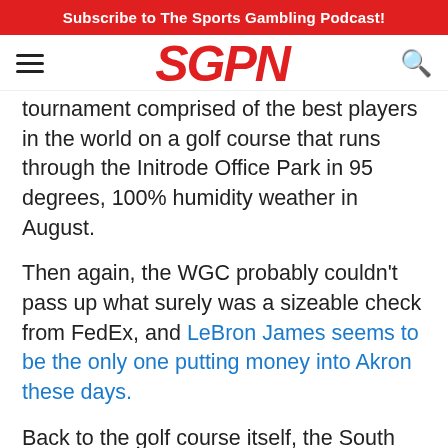Subscribe to The Sports Gambling Podcast!
[Figure (logo): SGPN logo in red italic bold text with hamburger menu icon on left and search icon on right]
tournament comprised of the best players in the world on a golf course that runs through the Initrode Office Park in 95 degrees, 100% humidity weather in August.
Then again, the WGC probably couldn't pass up what surely was a sizeable check from FedEx, and LeBron James seems to be the only one putting money into Akron these days.
Back to the golf course itself, the South Course has been lengthened several times over the last few decades to accommodate the advancements in golf technology. It now stretches 7,400 yards, which is a gigantic number for a Par 70. There's only two Par